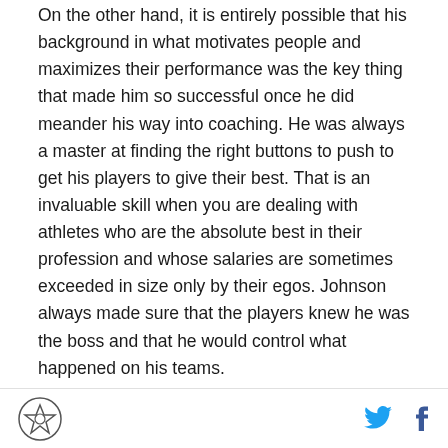On the other hand, it is entirely possible that his background in what motivates people and maximizes their performance was the key thing that made him so successful once he did meander his way into coaching. He was always a master at finding the right buttons to push to get his players to give their best. That is an invaluable skill when you are dealing with athletes who are the absolute best in their profession and whose salaries are sometimes exceeded in size only by their egos. Johnson always made sure that the players knew he was the boss and that he would control what happened on his teams.
But had he never become a coach, who knows what would have happened with the Cowboys after Jerry
[logo] [twitter] [facebook]